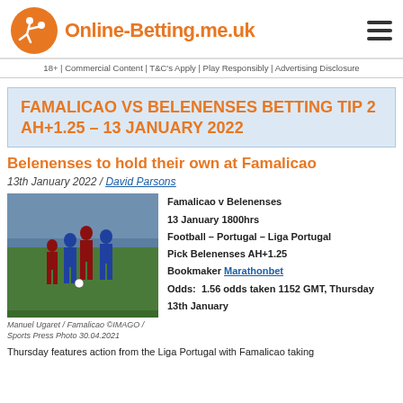Online-Betting.me.uk
18+ | Commercial Content | T&C's Apply | Play Responsibly | Advertising Disclosure
FAMALICAO VS BELENENSES BETTING TIP 2 AH+1.25 – 13 JANUARY 2022
Belenenses to hold their own at Famalicao
13th January 2022 / David Parsons
[Figure (photo): Football match action photo showing players from two teams competing on the pitch. Caption: Manuel Ugaret / Famalicao ©IMAGO / Sports Press Photo 30.04.2021]
Manuel Ugaret / Famalicao ©IMAGO / Sports Press Photo 30.04.2021
Famalicao v Belenenses
13 January 1800hrs
Football – Portugal – Liga Portugal
Pick Belenenses AH+1.25
Bookmaker Marathonbet
Odds: 1.56 odds taken 1152 GMT, Thursday 13th January
Thursday features action from the Liga Portugal with Famalicao taking